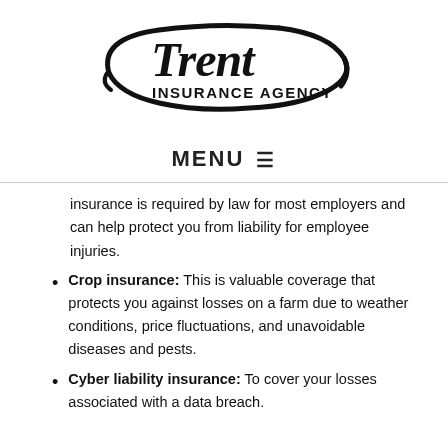[Figure (logo): Trent Insurance Agency logo — stylized italic 'Trent' script above bold 'INSURANCE AGENCY' text, enclosed in an oval swoosh shape]
MENU ☰
insurance is required by law for most employers and can help protect you from liability for employee injuries.
Crop insurance: This is valuable coverage that protects you against losses on a farm due to weather conditions, price fluctuations, and unavoidable diseases and pests.
Cyber liability insurance: To cover your losses associated with a data breach.